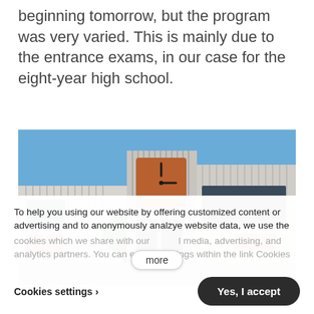beginning tomorrow, but the program was very varied. This is mainly due to the entrance exams, in our case for the eight-year high school.
[Figure (photo): Exterior photo of a school building with a clock tower, modern flat-roof architecture, large windows, and trees visible in the foreground against a blue sky.]
To help you using our website by offering customized content or advertising and to anonymously analzye website data, we use the cookies which we share with our social media, advertising, and analytics partners. You can edit your settings within the link Cookies
more
Cookies settings >
Yes, I accept